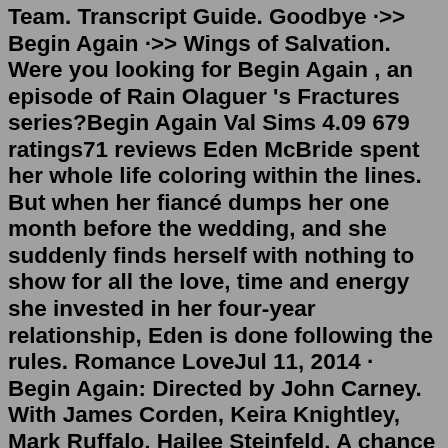Team. Transcript Guide. Goodbye ·>> Begin Again ·>> Wings of Salvation. Were you looking for Begin Again , an episode of Rain Olaguer 's Fractures series?Begin Again Val Sims 4.09 679 ratings71 reviews Eden McBride spent her whole life coloring within the lines. But when her fiancé dumps her one month before the wedding, and she suddenly finds herself with nothing to show for all the love, time and energy she invested in her four-year relationship, Eden is done following the rules. Romance LoveJul 11, 2014 · Begin Again: Directed by John Carney. With James Corden, Keira Knightley, Mark Ruffalo, Hailee Steinfeld. A chance encounter between a down-and-out music-business executive and a young singer-songwriter, new to Manhattan, turns into a promising collaboration between the two talents. Begin Again is a 2013 American musical comedy-drama film written and directed by John Carney and starring Keira Knightley and Mark Ruffalo.Knightley plays a singer-songwriter who is discovered by a struggling record label executive (Ruffalo) and collaborates with